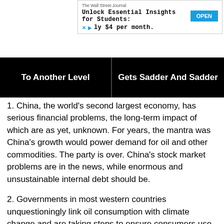[Figure (screenshot): Wall Street Journal advertisement banner: 'Unlock Essential Insights for Students: only $4 per month.' with an OPEN button]
To Another Level | Gets Sadder And Sadder
1. China, the world’s second largest economy, has serious financial problems, the long-term impact of which are as yet, unknown. For years, the mantra was China’s growth would power demand for oil and other commodities. The party is over. China’s stock market problems are in the news, while enormous and unsustainable internal debt should be.
2. Governments in most western countries unquestioningly link oil consumption with climate change and are taking steps to ensure consumers use less. We’re told daily the future of mankind depends on using less oil.
3. Western government economic stimulus via near-zero interest rates and quantitative easing have run their course and can no longer stimulate meaningful economic growth.